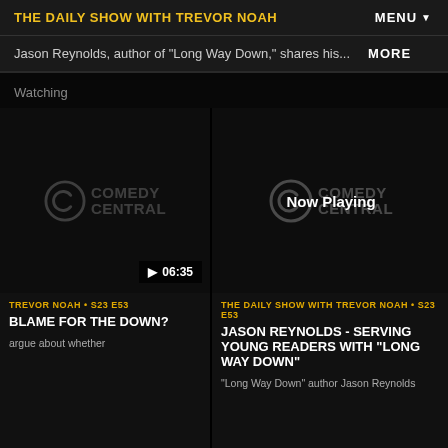THE DAILY SHOW WITH TREVOR NOAH
Jason Reynolds, author of "Long Way Down," shares his...
MORE
Watching
[Figure (screenshot): Comedy Central video thumbnail with play button showing 06:35 duration]
TREVOR NOAH • S23 E53
BLAME FOR THE DOWN?
argue about whether
[Figure (screenshot): Comedy Central video thumbnail showing Now Playing badge]
THE DAILY SHOW WITH TREVOR NOAH • S23 E53
JASON REYNOLDS - SERVING YOUNG READERS WITH "LONG WAY DOWN"
"Long Way Down" author Jason Reynolds